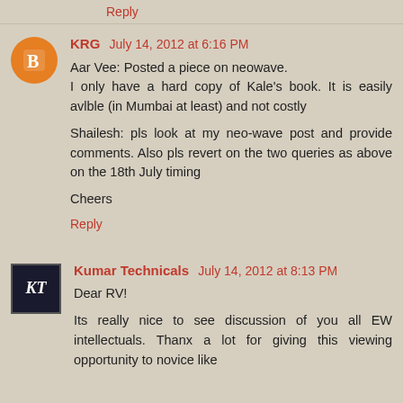Reply
KRG  July 14, 2012 at 6:16 PM
Aar Vee: Posted a piece on neowave.
I only have a hard copy of Kale's book. It is easily avlble (in Mumbai at least) and not costly

Shailesh: pls look at my neo-wave post and provide comments. Also pls revert on the two queries as above on the 18th July timing

Cheers
Reply
Kumar Technicals  July 14, 2012 at 8:13 PM
Dear RV!

Its really nice to see discussion of you all EW intellectuals. Thanx a lot for giving this viewing opportunity to novice like